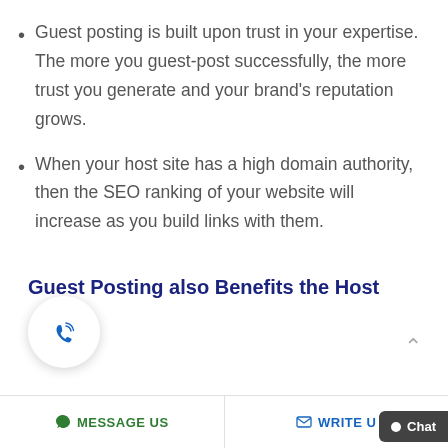Guest posting is built upon trust in your expertise. The more you guest-post successfully, the more trust you generate and your brand's reputation grows.
When your host site has a high domain authority, then the SEO ranking of your website will increase as you build links with them.
Guest Posting also Benefits the Host
MESSAGE US   WRITE U   Chat